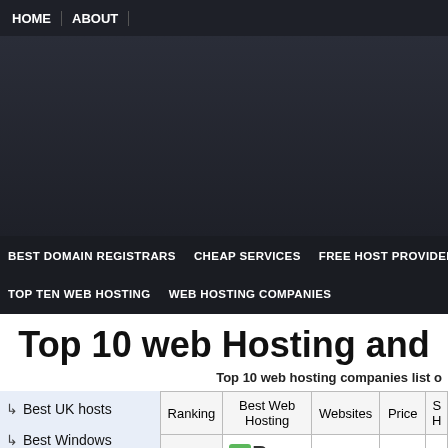HOME | ABOUT
[Figure (other): Dark banner/advertisement area]
BEST DOMAIN REGISTRARS | CHEAP SERVICES | FREE HOST PROVIDERS | TOP TEN WEB HOSTING | WEB HOSTING COMPANIES
Top 10 web Hosting and
Top 10 web hosting companies list o
Best UK hosts
Best Windows web hosts
Best Blog host
Best cloud host
best php host
| Ranking | Best Web Hosting | Websites | Price | S... |
| --- | --- | --- | --- | --- |
| 1 | iPage
50% off plus $200 advert gift Promotion | Use Coupon | $1.99 | In a pl |